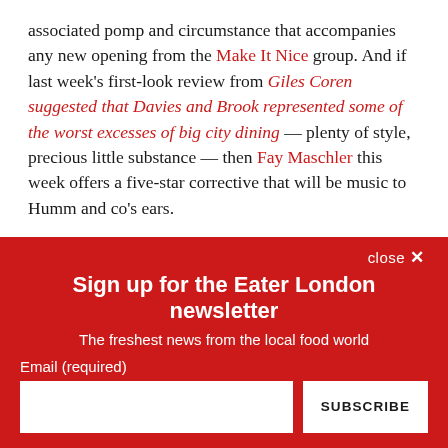associated pomp and circumstance that accompanies any new opening from the Make It Nice group. And if last week's first-look review from Giles Coren suggested that Davies and Brook represented some of the worst excesses of big city dining — plenty of style, precious little substance — then Fay Maschler this week offers a five-star corrective that will be music to Humm and co's ears.
close ✕
Sign up for the Eater London newsletter
The freshest news from the local food world
Email (required)
SUBSCRIBE
By submitting your email, you agree to our Terms and Privacy Notice. You can opt out at any time. This site is protected by reCAPTCHA and the Google Privacy Policy and Terms of Service apply.